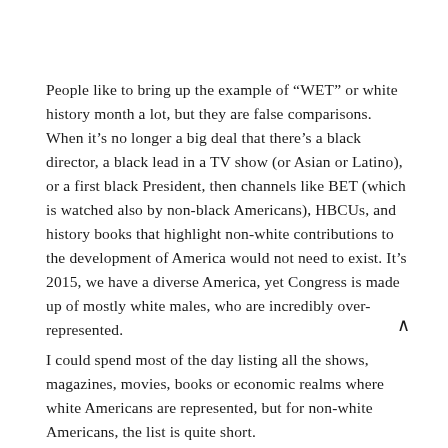People like to bring up the example of “WET” or white history month a lot, but they are false comparisons. When it’s no longer a big deal that there’s a black director, a black lead in a TV show (or Asian or Latino), or a first black President, then channels like BET (which is watched also by non-black Americans), HBCUs, and history books that highlight non-white contributions to the development of America would not need to exist. It’s 2015, we have a diverse America, yet Congress is made up of mostly white males, who are incredibly over-represented.
I could spend most of the day listing all the shows, magazines, movies, books or economic realms where white Americans are represented, but for non-white Americans, the list is quite short.